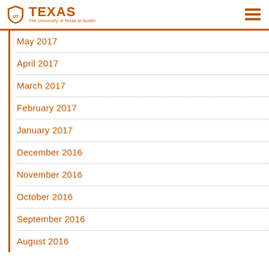The University of Texas at Austin
May 2017
April 2017
March 2017
February 2017
January 2017
December 2016
November 2016
October 2016
September 2016
August 2016